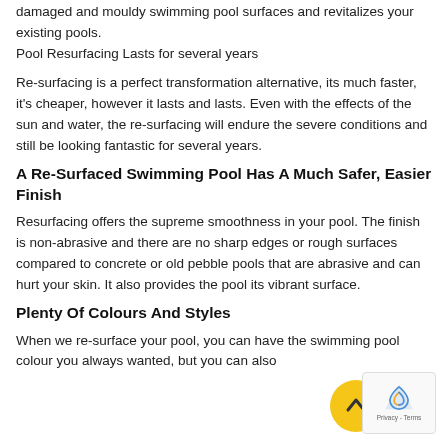damaged and mouldy swimming pool surfaces and revitalizes your existing pools.
Pool Resurfacing Lasts for several years
Re-surfacing is a perfect transformation alternative, its much faster, it's cheaper, however it lasts and lasts. Even with the effects of the sun and water, the re-surfacing will endure the severe conditions and still be looking fantastic for several years.
A Re-Surfaced Swimming Pool Has A Much Safer, Easier Finish
Resurfacing offers the supreme smoothness in your pool. The finish is non-abrasive and there are no sharp edges or rough surfaces compared to concrete or old pebble pools that are abrasive and can hurt your skin. It also provides the pool its vibrant surface.
Plenty Of Colours And Styles
When we re-surface your pool, you can have the swimming pool colour you always wanted, but you can also